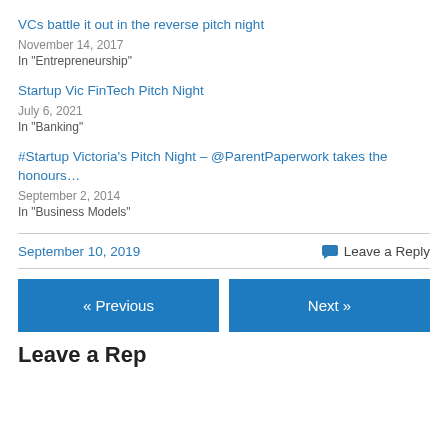VCs battle it out in the reverse pitch night
November 14, 2017
In "Entrepreneurship"
Startup Vic FinTech Pitch Night
July 6, 2021
In "Banking"
#Startup Victoria's Pitch Night – @ParentPaperwork takes the honours…
September 2, 2014
In "Business Models"
September 10, 2019
Leave a Reply
« Previous
Next »
Leave a Reply